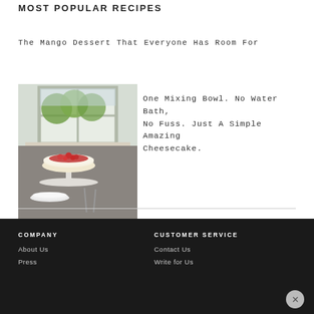MOST POPULAR RECIPES
The Mango Dessert That Everyone Has Room For
[Figure (photo): A cheesecake with red berry topping on a white pedestal cake stand near a window with garden view, with plates and forks nearby on a dark table]
One Mixing Bowl. No Water Bath, No Fuss. Just A Simple Amazing Cheesecake.
COMPANY
About Us
Press
CUSTOMER SERVICE
Contact Us
Write for Us